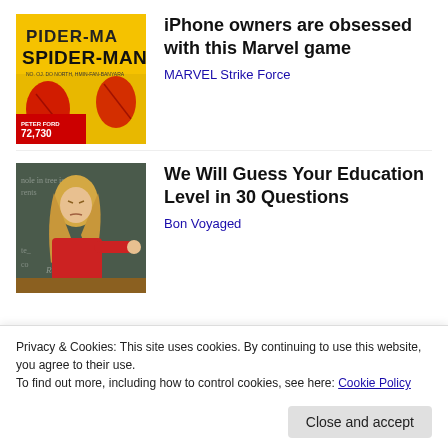[Figure (photo): Spider-Man movie promotional image with yellow background, showing Spider-Man characters and text 'SPIDER-MAN', with score 72,730 and 'PETER FORD' label]
iPhone owners are obsessed with this Marvel game
MARVEL Strike Force
[Figure (photo): Woman with blonde hair in red outfit pointing at a chalkboard in a classroom setting]
We Will Guess Your Education Level in 30 Questions
Bon Voyaged
Privacy & Cookies: This site uses cookies. By continuing to use this website, you agree to their use.
To find out more, including how to control cookies, see here: Cookie Policy
Close and accept